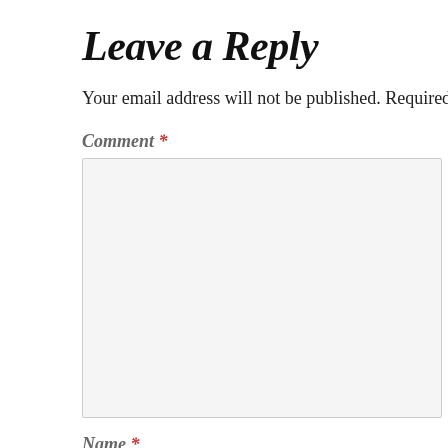Leave a Reply
Your email address will not be published. Required fiel
Comment *
Name *
Email *